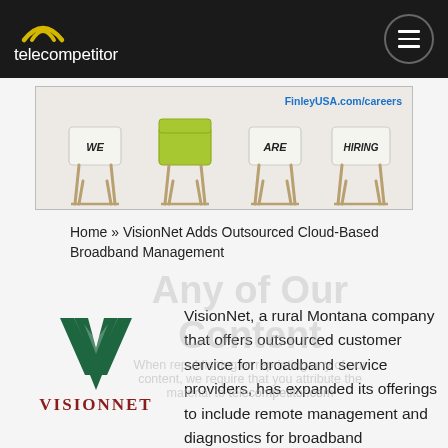telecompetitor
[Figure (photo): Advertisement banner showing chairs with signs reading 'We Are Hiring' and URL FinleyUSA.com/careers]
Home » VisionNet Adds Outsourced Cloud-Based Broadband Management
[Figure (logo): VisionNet logo — dark green stylized W/V arrow shape above the text VISIONNET in dark red serif capitals]
VisionNet, a rural Montana company that offers outsourced customer service for broadband service providers, has expanded its offerings to include remote management and diagnostics for broadband connections. By using the cloud-based offering based on technology from Germany-based Axiros Mercomm